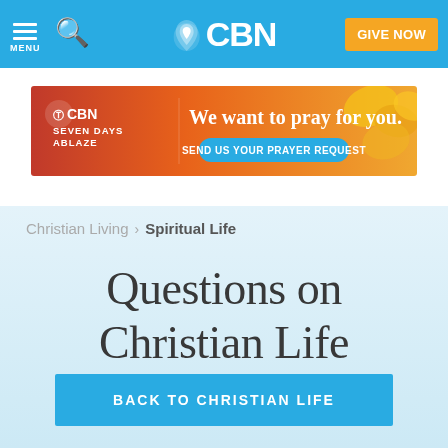MENU | Search | CBN | GIVE NOW
[Figure (illustration): CBN Seven Days Ablaze advertisement banner: orange/autumn background with fall leaves, CBN Seven Days Ablaze logo on left, text 'We want to pray for you.' and 'SEND US YOUR PRAYER REQUEST' button in center]
Christian Living  >  Spiritual Life
Questions on Christian Life
BACK TO CHRISTIAN LIFE